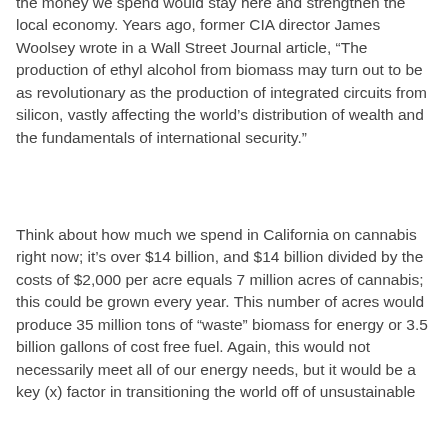the money we spend would stay here and strengthen the local economy. Years ago, former CIA director James Woolsey wrote in a Wall Street Journal article, “The production of ethyl alcohol from biomass may turn out to be as revolutionary as the production of integrated circuits from silicon, vastly affecting the world’s distribution of wealth and the fundamentals of international security.”
Think about how much we spend in California on cannabis right now; it’s over $14 billion, and $14 billion divided by the costs of $2,000 per acre equals 7 million acres of cannabis; this could be grown every year. This number of acres would produce 35 million tons of “waste” biomass for energy or 3.5 billion gallons of cost free fuel. Again, this would not necessarily meet all of our energy needs, but it would be a key (x) factor in transitioning the world off of unsustainable